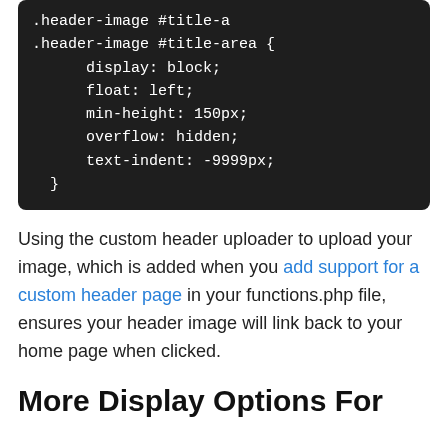[Figure (screenshot): Dark-themed code block showing CSS for .header-image #title-area with properties: display: block; float: left; min-height: 150px; overflow: hidden; text-indent: -9999px; closing brace]
Using the custom header uploader to upload your image, which is added when you add support for a custom header page in your functions.php file, ensures your header image will link back to your home page when clicked.
More Display Options For